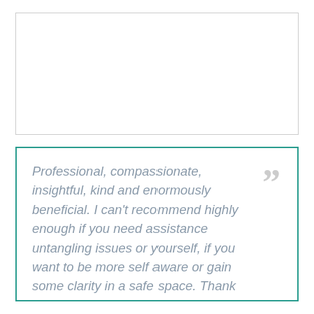[Figure (other): Empty white box with light grey border at top of page]
Professional, compassionate, insightful, kind and enormously beneficial. I can't recommend highly enough if you need assistance untangling issues or yourself, if you want to be more self aware or gain some clarity in a safe space. Thank you so much.